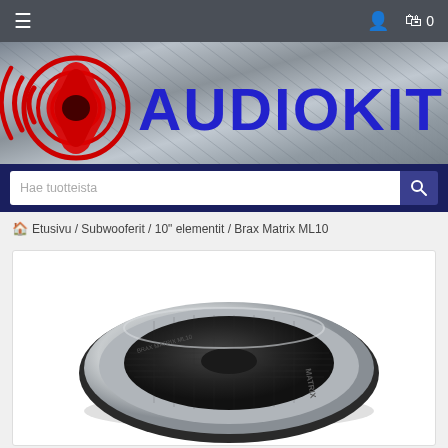☰ navigation bar with cart icon and 0
[Figure (logo): Audiokit logo banner with red speaker/megaphone icon and blue AUDIOKIT text on metallic striped background]
Hae tuotteista (search bar)
🏠 Etusivu / Subwooferit / 10" elementit / Brax Matrix ML10
[Figure (photo): Brax Matrix ML10 subwoofer element - circular speaker component with metallic silver ring and black mesh cone, viewed from top angle, with MATRIX branding visible]